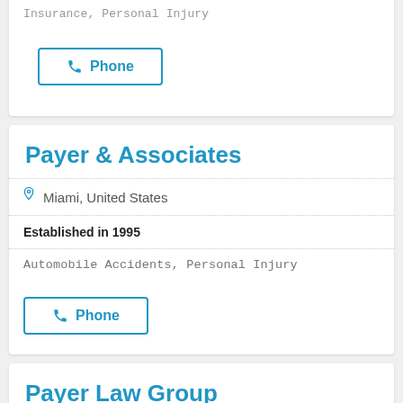Insurance, Personal Injury
Phone
Payer & Associates
Miami, United States
Established in 1995
Automobile Accidents, Personal Injury
Phone
Payer Law Group
Orlando, United States
Established in 2000
Automobile Accidents, Personal Injury